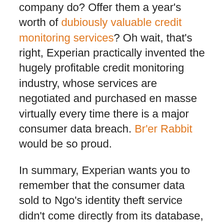company do? Offer them a year's worth of dubiously valuable credit monitoring services? Oh wait, that's right, Experian practically invented the hugely profitable credit monitoring industry, whose services are negotiated and purchased en masse virtually every time there is a major consumer data breach. Br'er Rabbit would be so proud.
In summary, Experian wants you to remember that the consumer data sold to Ngo's identity theft service didn't come directly from its database, but merely from the database of a company it owns. But happily, there is no proof that any of Ngo's customers — who collectively paid Experian $1.9 million to access the data — actually harmed any consumers.
Readers who find all of this a bit hard to swallow can be forgiven: After all, this version of the facts